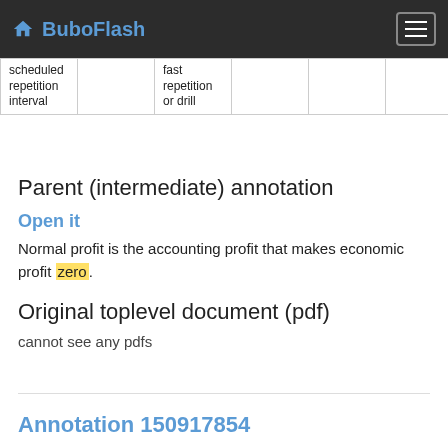BuboFlash
| scheduled repetition interval |  | fast repetition or drill |  |  |  |
Parent (intermediate) annotation
Open it
Normal profit is the accounting profit that makes economic profit zero.
Original toplevel document (pdf)
cannot see any pdfs
Annotation 150917854